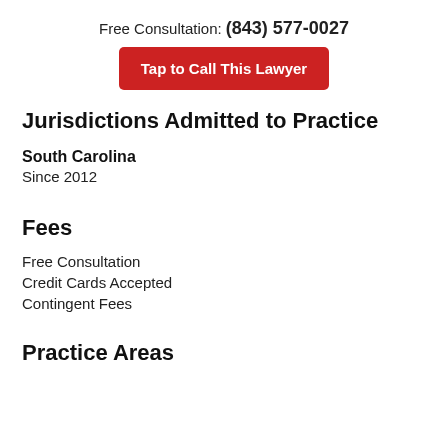Free Consultation: (843) 577-0027
Tap to Call This Lawyer
Jurisdictions Admitted to Practice
South Carolina
Since 2012
Fees
Free Consultation
Credit Cards Accepted
Contingent Fees
Practice Areas